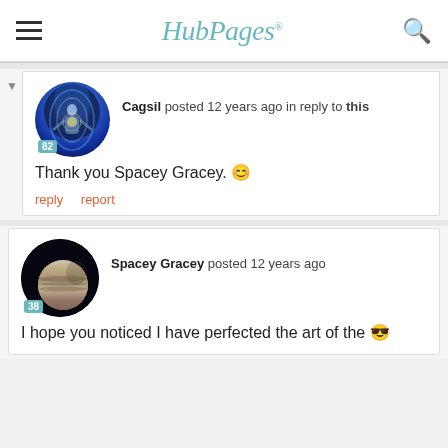HubPages
[Figure (screenshot): User avatar for Cagsil showing a glowing human figure silhouette with energy aura on dark blue background, badge showing 82]
Cagsil posted 12 years ago in reply to this
Thank you Spacey Gracey. 🙂
reply   report
[Figure (screenshot): User avatar for Spacey Gracey showing a planet (Jupiter-like) on dark background, badge showing 38]
Spacey Gracey posted 12 years ago
I hope you noticed I have perfected the art of the 😎